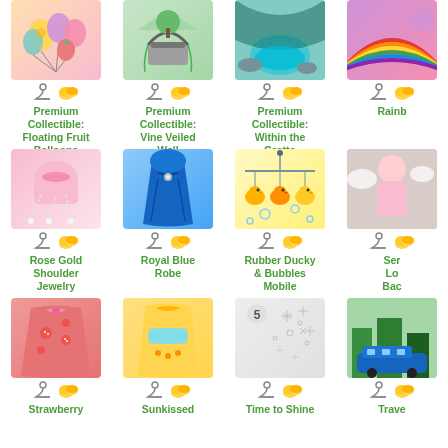[Figure (illustration): Grid of virtual items from a game catalog, showing item images with hanger and coin icons, labeled with item names in green text. Row 1: Premium Collectible: Floating Fruit Balloons, Premium Collectible: Vine Veiled Well, Premium Collectible: Within the Grotto Background, Rainbow (partial). Row 2: Rose Gold Shoulder Jewelry, Royal Blue Robe, Rubber Ducky & Bubbles Mobile, Serenity Lo Bac (partial). Row 3: Strawberry, Sunkissed, Time to Shine, Trave (partial).]